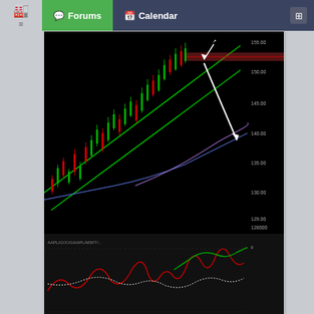Forums | Calendar
[Figure (screenshot): Trading chart screenshot showing candlestick price chart with green channel lines and indicator oscillator below, black background, date range visible on x-axis]
Jun 25, 2009 2:00pm   #183,118
JhonMonsalve
1  ←  Page 9156  →  11779